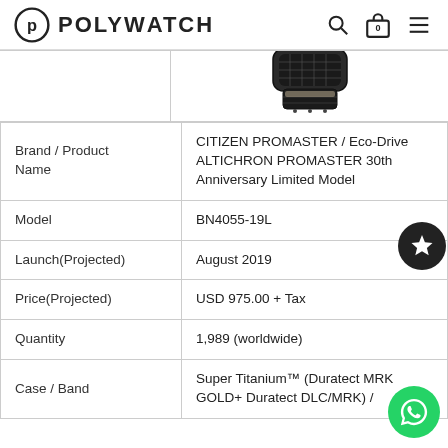POLYWATCH
[Figure (photo): Partial view of a watch (Citizen Promaster), showing the bottom of the watch case with black case and mesh/textile strap detail against white background]
| Brand / Product Name | CITIZEN PROMASTER / Eco-Drive ALTICHRON PROMASTER 30th Anniversary Limited Model |
| Model | BN4055-19L |
| Launch(Projected) | August 2019 |
| Price(Projected) | USD 975.00 + Tax |
| Quantity | 1,989 (worldwide) |
| Case / Band | Super Titanium™ (Duratect MRK GOLD+ Duratect DLC/MRK) / |